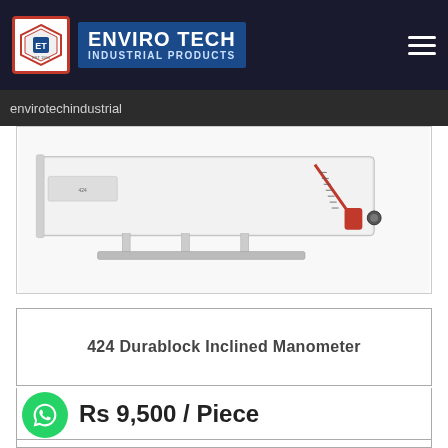ENVIRO TECH INDUSTRIAL PRODUCTS
envirotechindustrial
[Figure (photo): 424 Durablock Inclined Manometer product photo — a long flat white instrument with a red-scale inclined tube manometer on the right side and metal feet stand]
424 Durablock Inclined Manometer
Rs 9,500 / Piece